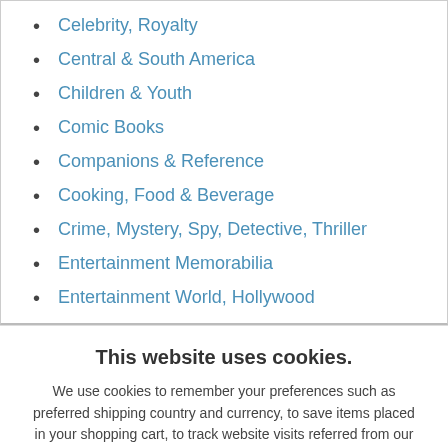Celebrity, Royalty
Central & South America
Children & Youth
Comic Books
Companions & Reference
Cooking, Food & Beverage
Crime, Mystery, Spy, Detective, Thriller
Entertainment Memorabilia
Entertainment World, Hollywood
This website uses cookies.
We use cookies to remember your preferences such as preferred shipping country and currency, to save items placed in your shopping cart, to track website visits referred from our advertising partners, and to analyze our website traffic. Manage your privacy settings.
AGREE AND CLOSE